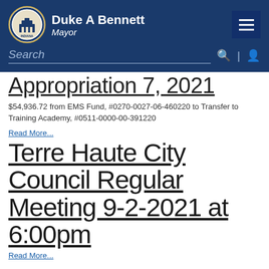Duke A Bennett, Mayor
Appropriation 7, 2021
$54,936.72 from EMS Fund, #0270-0027-06-460220 to Transfer to Training Academy, #0511-0000-00-391220
Read More...
Terre Haute City Council Regular Meeting 9-2-2021 at 6:00pm
Read More...